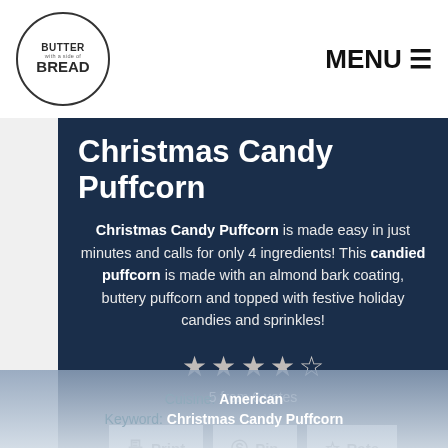[Figure (logo): Butter with a side of Bread circular logo]
MENU ☰
Christmas Candy Puffcorn
Christmas Candy Puffcorn is made easy in just minutes and calls for only 4 ingredients! This candied puffcorn is made with an almond bark coating, buttery puffcorn and topped with festive holiday candies and sprinkles!
[Figure (other): 5-star rating: 5 from 6 votes]
5 from 6 votes
🖨 Print  📌 Pin  ☆ Rate
Course: Snack/ Dessert, treats
Cuisine: American
Keyword: Christmas Candy Puffcorn